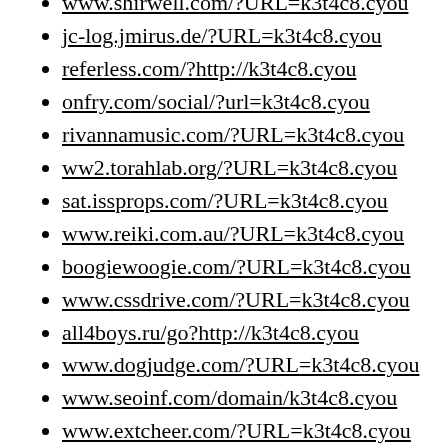www.shirwell.com/?URL=k3t4c8.cyou
jc-log.jmirus.de/?URL=k3t4c8.cyou
referless.com/?http://k3t4c8.cyou
onfry.com/social/?url=k3t4c8.cyou
rivannamusic.com/?URL=k3t4c8.cyou
ww2.torahlab.org/?URL=k3t4c8.cyou
sat.issprops.com/?URL=k3t4c8.cyou
www.reiki.com.au/?URL=k3t4c8.cyou
boogiewoogie.com/?URL=k3t4c8.cyou
www.cssdrive.com/?URL=k3t4c8.cyou
all4boys.ru/go?http://k3t4c8.cyou
www.dogjudge.com/?URL=k3t4c8.cyou
www.seoinf.com/domain/k3t4c8.cyou
www.extcheer.com/?URL=k3t4c8.cyou
zuya.pxl.su/go?http://k3t4c8.cyou
www.derf.net/redirect/k3t4c8.cyou
s.z-z.jp/c.cgi?http://k3t4c8.cyou
1494.kz/go?url=http://k3t4c8.cyou